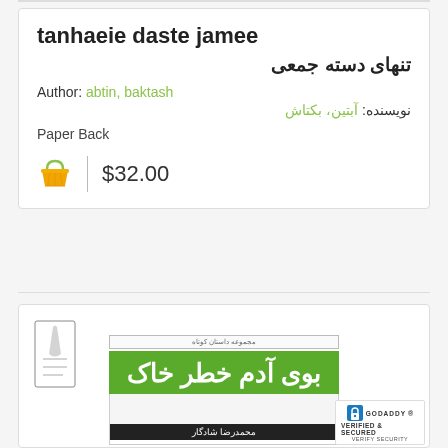tanhaeie daste jamee
تنهای دسته جمعی
Author: abtin, baktash
نویسنده: آبتین، بکتاش
Paper Back
$32.00
[Figure (other): Book cover showing green banner with Persian title بوی آدم خطر خاک and author name محمدرضا شادگار, with GoDaddy Verified & Secured badge]